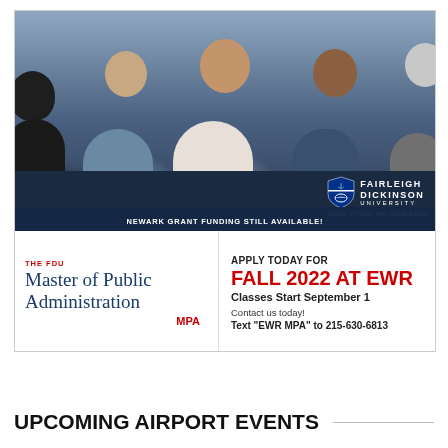[Figure (photo): Group of diverse people sitting in a circle discussion, with Fairleigh Dickinson University School of Public and Global Affairs logo overlay and text 'NEWARK GRANT FUNDING STILL AVAILABLE!']
THE FDU
Master of Public Administration
MPA
APPLY TODAY FOR
FALL 2022 AT EWR
Classes Start September 1
Contact us today!
Text "EWR MPA" to 215-630-6813
UPCOMING AIRPORT EVENTS